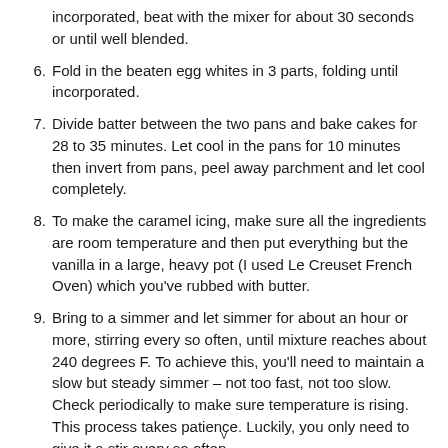(partial) incorporated, beat with the mixer for about 30 seconds or until well blended.
6. Fold in the beaten egg whites in 3 parts, folding until incorporated.
7. Divide batter between the two pans and bake cakes for 28 to 35 minutes. Let cool in the pans for 10 minutes then invert from pans, peel away parchment and let cool completely.
8. To make the caramel icing, make sure all the ingredients are room temperature and then put everything but the vanilla in a large, heavy pot (I used Le Creuset French Oven) which you've rubbed with butter.
9. Bring to a simmer and let simmer for about an hour or more, stirring every so often, until mixture reaches about 240 degrees F. To achieve this, you'll need to maintain a slow but steady simmer – not too fast, not too slow. Check periodically to make sure temperature is rising. This process takes patience. Luckily, you only need to give it a stir every so often.
10. Remove from heat, let cool slightly, then add the vanilla. Stir
v